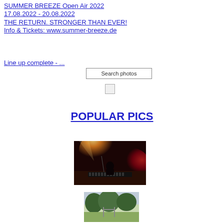SUMMER BREEZE Open Air 2022
17.08.2022 - 20.08.2022
THE RETURN. STRONGER THAN EVER!
Info & Tickets: www.summer-breeze.de
Line up complete - ...
Search photos
POPULAR PICS
[Figure (photo): Concert photo with stage lighting showing musician at keyboard, orange and red lights]
[Figure (photo): Partial photo showing outdoor scene with green foliage]